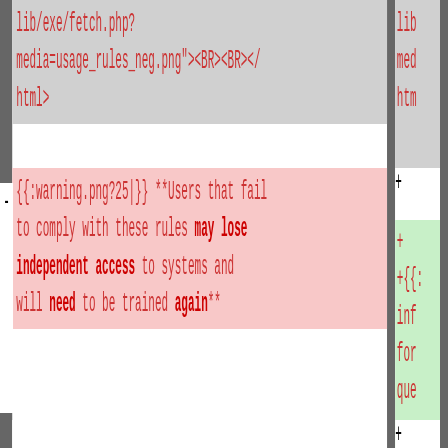lib/exe/fetch.php?
media=usage_rules_neg.png"><BR><BR></
html>
- {{:warning.png?25|}} **Users that fail to comply with these rules may lose independent access to systems and will need to be trained again**
+ {{: ... inf for que pro
===== Usage Rules =====
Line 11:
===== COVID-19 Contingency Plan =====
- - Do not exceed the **maximum number